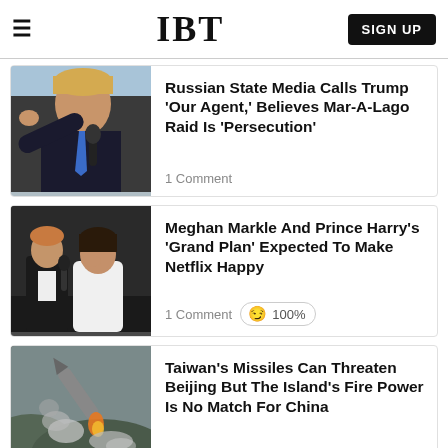IBT | SIGN UP
Russian State Media Calls Trump 'Our Agent,' Believes Mar-A-Lago Raid Is 'Persecution'
1 Comment
Meghan Markle And Prince Harry's 'Grand Plan' Expected To Make Netflix Happy
1 Comment  😏 100%
Taiwan's Missiles Can Threaten Beijing But The Island's Fire Power Is No Match For China